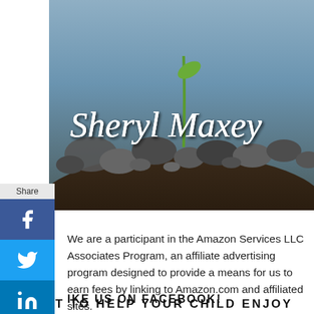[Figure (photo): Header photo of rocks and a plant sprout with the text 'Sheryl Maxey' overlaid in italic white serif font.]
We are a participant in the Amazon Services LLC Associates Program, an affiliate advertising program designed to provide a means for us to earn fees by linking to Amazon.com and affiliated sites.
LIKE US ON FACEBOOK!
WANT TO HELP YOUR CHILD ENJOY